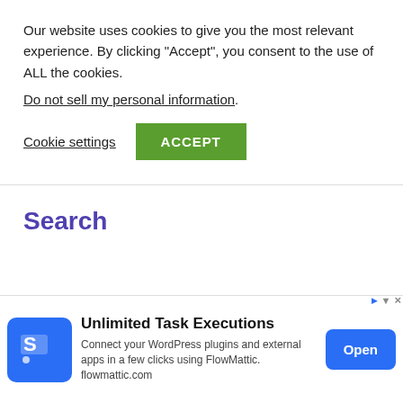Our website uses cookies to give you the most relevant experience. By clicking “Accept”, you consent to the use of ALL the cookies.
Do not sell my personal information.
Cookie settings
ACCEPT
Search
[Figure (screenshot): Partial search bar with chevron dropdown and blue search icon button]
[Figure (infographic): Advertisement banner: Unlimited Task Executions - Connect your WordPress plugins and external apps in a few clicks using FlowMattic. flowmattic.com - with Open button and blue icon with S logo]